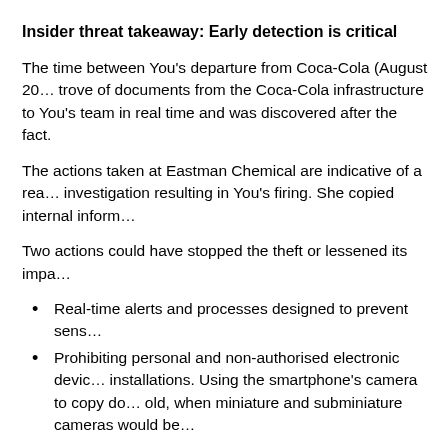Insider threat takeaway: Early detection is critical
The time between You's departure from Coca-Cola (August 20... trove of documents from the Coca-Cola infrastructure to You's... team in real time and was discovered after the fact.
The actions taken at Eastman Chemical are indicative of a rea... investigation resulting in You's firing. She copied internal inform...
Two actions could have stopped the theft or lessened its impa...
Real-time alerts and processes designed to prevent sens...
Prohibiting personal and non-authorised electronic devic... installations. Using the smartphone's camera to copy doc... old, when miniature and subminiature cameras would be...
You's apparent motivation to break trust can be found in both g... Thousand Talent award and other Chinese financial awards. H... company" in China that would attempt to exploit and monetise...